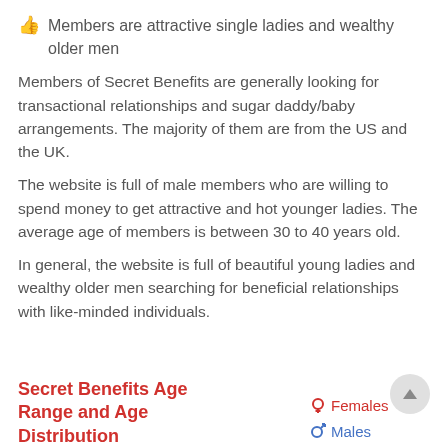Members are attractive single ladies and wealthy older men
Members of Secret Benefits are generally looking for transactional relationships and sugar daddy/baby arrangements. The majority of them are from the US and the UK.
The website is full of male members who are willing to spend money to get attractive and hot younger ladies. The average age of members is between 30 to 40 years old.
In general, the website is full of beautiful young ladies and wealthy older men searching for beneficial relationships with like-minded individuals.
Secret Benefits Age Range and Age Distribution
Females
Males